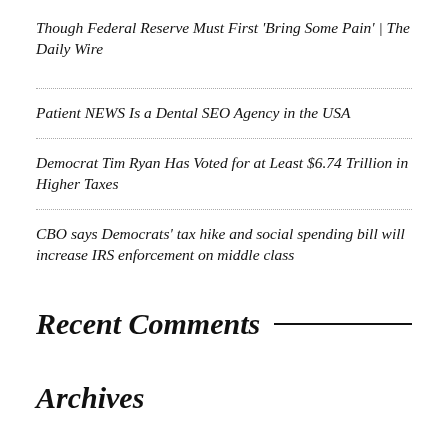Though Federal Reserve Must First 'Bring Some Pain' | The Daily Wire
Patient NEWS Is a Dental SEO Agency in the USA
Democrat Tim Ryan Has Voted for at Least $6.74 Trillion in Higher Taxes
CBO says Democrats' tax hike and social spending bill will increase IRS enforcement on middle class
Recent Comments
Archives